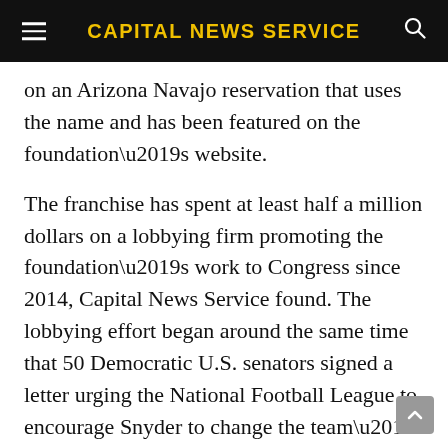CAPITAL NEWS SERVICE
on an Arizona Navajo reservation that uses the name and has been featured on the foundation’s website.
The franchise has spent at least half a million dollars on a lobbying firm promoting the foundation’s work to Congress since 2014, Capital News Service found. The lobbying effort began around the same time that 50 Democratic U.S. senators signed a letter urging the National Football League to encourage Snyder to change the team’s name.
The NFL team also posted press releases on its